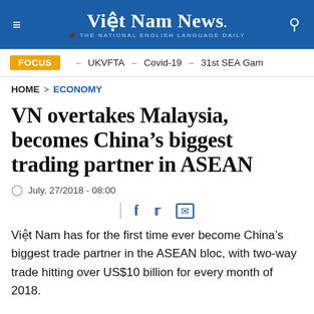Việt Nam News. THE NATIONAL ENGLISH LANGUAGE DAILY
FOCUS - UKVFTA - Covid-19 - 31st SEA Gam
HOME > ECONOMY
VN overtakes Malaysia, becomes China's biggest trading partner in ASEAN
July, 27/2018 - 08:00
Việt Nam has for the first time ever become China's biggest trade partner in the ASEAN bloc, with two-way trade hitting over US$10 billion for every month of 2018.